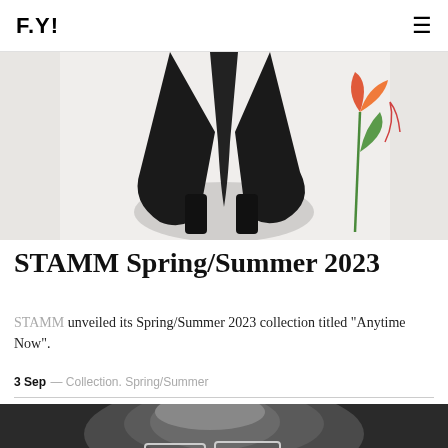F.Y!
[Figure (photo): Fashion photo showing lower half of a figure wearing a flowing black sheer skirt/dress with black boots, against a white background with a colorful painted floral illustration]
STAMM Spring/Summer 2023
STAMM unveiled its Spring/Summer 2023 collection titled “Anytime Now”.
3 Sep — Collection. Spring/Summer
[Figure (photo): Black and white close-up photo of a person's face wearing futuristic/architectural transparent glasses/eyewear]